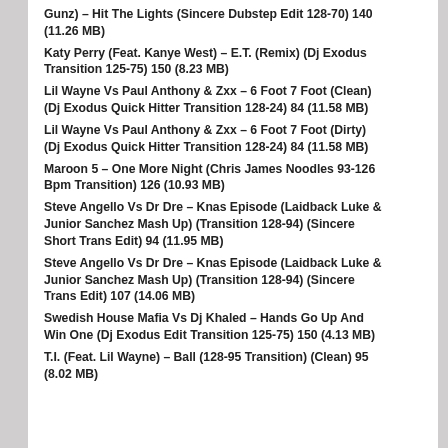Gunz) – Hit The Lights (Sincere Dubstep Edit 128-70) 140 (11.26 MB)
Katy Perry (Feat. Kanye West) – E.T. (Remix) (Dj Exodus Transition 125-75) 150 (8.23 MB)
Lil Wayne Vs Paul Anthony & Zxx – 6 Foot 7 Foot (Clean) (Dj Exodus Quick Hitter Transition 128-24) 84 (11.58 MB)
Lil Wayne Vs Paul Anthony & Zxx – 6 Foot 7 Foot (Dirty) (Dj Exodus Quick Hitter Transition 128-24) 84 (11.58 MB)
Maroon 5 – One More Night (Chris James Noodles 93-126 Bpm Transition) 126 (10.93 MB)
Steve Angello Vs Dr Dre – Knas Episode (Laidback Luke & Junior Sanchez Mash Up) (Transition 128-94) (Sincere Short Trans Edit) 94 (11.95 MB)
Steve Angello Vs Dr Dre – Knas Episode (Laidback Luke & Junior Sanchez Mash Up) (Transition 128-94) (Sincere Trans Edit) 107 (14.06 MB)
Swedish House Mafia Vs Dj Khaled – Hands Go Up And Win One (Dj Exodus Edit Transition 125-75) 150 (4.13 MB)
T.I. (Feat. Lil Wayne) – Ball (128-95 Transition) (Clean) 95 (8.02 MB)